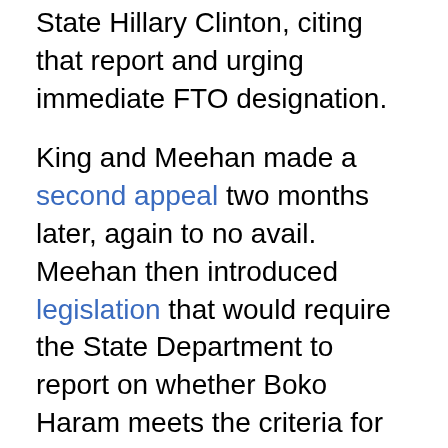State Hillary Clinton, citing that report and urging immediate FTO designation.
King and Meehan made a second appeal two months later, again to no avail. Meehan then introduced legislation that would require the State Department to report on whether Boko Haram meets the criteria for FTO designation, and if not give detailed reasons for the decision.
In June 2012, the administration named three Boko Haram leaders, Shekau among them, under an executive order designed to disrupt funding to terrorists.